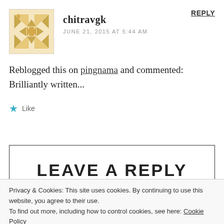[Figure (illustration): Avatar image with decorative geometric/floral pattern in tan/gold on white background]
chitravgk
JUNE 21, 2015 AT 5:44 AM
REPLY
Reblogged this on pingnama and commented:
Brilliantly written...
Like
LEAVE A REPLY
Privacy & Cookies: This site uses cookies. By continuing to use this website, you agree to their use.
To find out more, including how to control cookies, see here: Cookie Policy
Close and accept